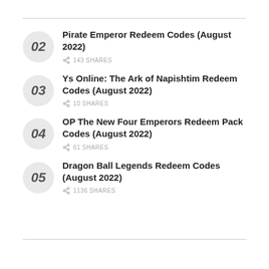02 Pirate Emperor Redeem Codes (August 2022) 143 SHARES
03 Ys Online: The Ark of Napishtim Redeem Codes (August 2022) 10 SHARES
04 OP The New Four Emperors Redeem Pack Codes (August 2022) 61 SHARES
05 Dragon Ball Legends Redeem Codes (August 2022) 1136 SHARES